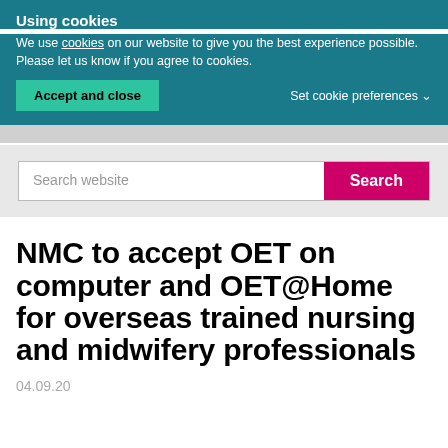Using cookies
We use cookies on our website to give you the best experience possible. Please let us know if you agree to cookies.
Accept and close
Set cookie preferences
NMC to accept OET on computer and OET@Home for overseas trained nursing and midwifery professionals
04.09.20